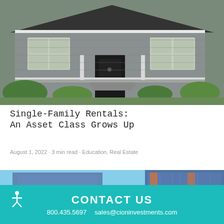[Figure (photo): Exterior photo of a gray craftsman-style single-family home with white trim, large front porch, black front door, lush garden landscaping, and a dark shingled roof.]
Single-Family Rentals:
An Asset Class Grows Up
August 1, 2022 · 3 min read · Education, Real Estate
[Figure (photo): Partial photo of modern office or commercial buildings with blue sky background, glass facades with orange and blue accents.]
CONTACT US
800.435.5697   sales@cioninvestments.com